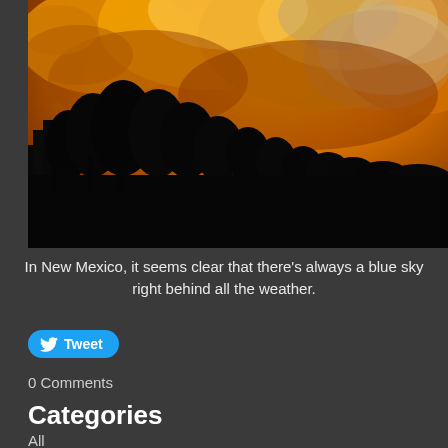[Figure (photo): Dramatic sunset photo with orange and amber storm clouds filling the upper two-thirds of the frame. Dark silhouettes of trees line the middle of the image from left to right. The sky has intense orange/amber coloring with white cloud highlights.]
In New Mexico, it seems clear that there's always a blue sky right behind all the weather.
Tweet
0 Comments
Categories
All
Art